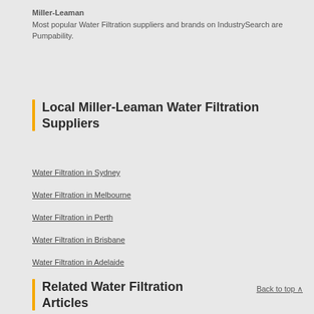Miller-Leaman
Most popular Water Filtration suppliers and brands on IndustrySearch are Pumpability.
Local Miller-Leaman Water Filtration Suppliers
Water Filtration in Sydney
Water Filtration in Melbourne
Water Filtration in Perth
Water Filtration in Brisbane
Water Filtration in Adelaide
Related Water Filtration Articles
Back to top ∧